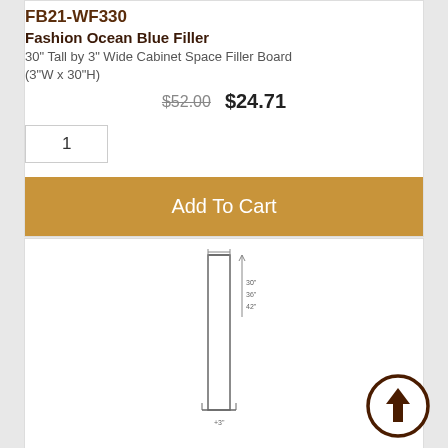FB21-WF330
Fashion Ocean Blue Filler
30" Tall by 3" Wide Cabinet Space Filler Board (3"W x 30"H)
$52.00  $24.71
1
Add To Cart
[Figure (engineering-diagram): Engineering line drawing of a tall narrow filler board with dimension annotations 30", 36", 42" on the side and 3" on the bottom]
FB21-WF342
Fashion Ocean Blue Filler
42" Tall by 3" Wide Cabinet Space Filler Board (3"W x 42"H)
$68.00  $32.31